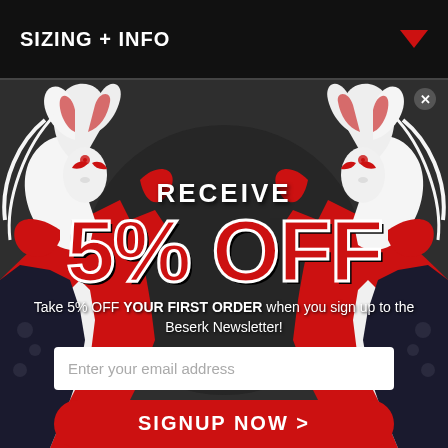SIZING + INFO
[Figure (illustration): Japanese fox spirit (kitsune) characters in red, white, and black anime style, mirrored on left and right sides of the popup, with red kimono and fox mask]
RECEIVE 5% OFF
Take 5% OFF YOUR FIRST ORDER when you sign up to the Beserk Newsletter!
Enter your email address
SIGNUP NOW >